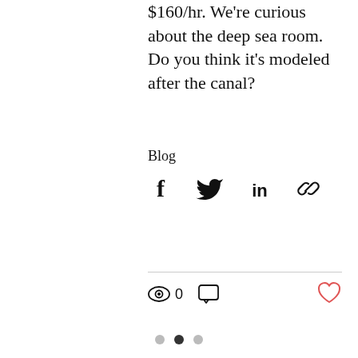$160/hr. We're curious about the deep sea room. Do you think it's modeled after the canal?
Blog
[Figure (infographic): Social share icons: Facebook (f), Twitter (bird), LinkedIn (in), link/chain icon]
[Figure (infographic): Stats row: eye icon with count 0, comment icon, and heart/like icon (red outline) on the right]
[Figure (infographic): Pagination dots: three circles, left grey, middle black (active), right grey]